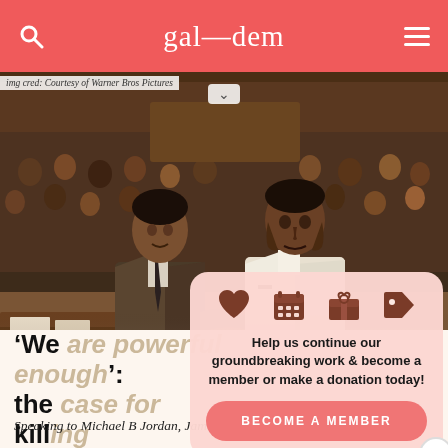gal—dem
[Figure (screenshot): Screenshot of gal-dem website showing a courtroom scene from a film with two Black men in the foreground, one in a suit and one in a white shirt, with a crowded courtroom behind them. A membership popup overlay is visible.]
img cred: Courtesy of Warner Bros Pictures
Help us continue our groundbreaking work & become a member or make a donation today!
BECOME A MEMBER
'We are powerful enough': the case for killing
Speaking to Michael B Jordan, Jamie Foxx